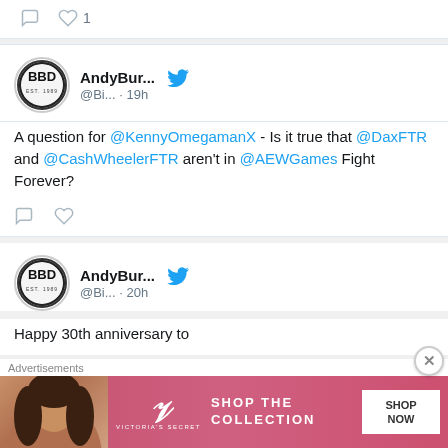[Figure (screenshot): Top partial tweet card showing comment and like icons with count 1]
[Figure (screenshot): Tweet from AndyBur... @Bi... 19h with BBD avatar and Twitter bird icon]
A question for @KennyOmegamanX - Is it true that @DaxFTR and @CashWheelerFTR aren't in @AEWGames Fight Forever?
[Figure (screenshot): Tweet from AndyBur... @Bi... 20h with BBD avatar and Twitter bird icon]
Happy 30th anniversary to
Advertisements
[Figure (photo): Victoria's Secret advertisement banner with model photo, VS logo, SHOP THE COLLECTION text, and SHOP NOW button]